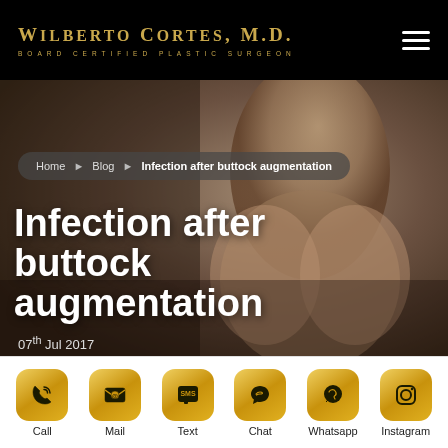WILBERTO CORTES, M.D. BOARD CERTIFIED PLASTIC SURGEON
[Figure (photo): Background photo of a woman's back and buttocks area, dark toned]
Home ▶ Blog ▶ Infection after buttock augmentation
Infection after buttock augmentation
07th Jul 2017
Call | Mail | Text | Chat | Whatsapp | Instagram